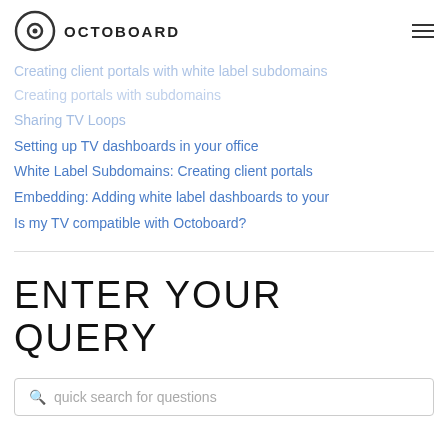OCTOBOARD
Creating client portals with white label subdomains
Creating portals with subdomains
Sharing TV Loops
Setting up TV dashboards in your office
White Label Subdomains: Creating client portals
Embedding: Adding white label dashboards to your
Is my TV compatible with Octoboard?
ENTER YOUR QUERY
quick search for questions